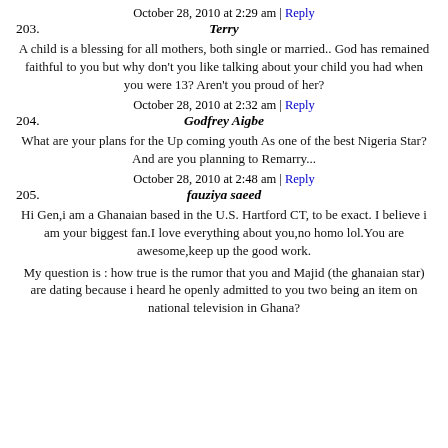October 28, 2010 at 2:29 am | Reply
203. Terry
A child is a blessing for all mothers, both single or married.. God has remained faithful to you but why don't you like talking about your child you had when you were 13? Aren't you proud of her?
October 28, 2010 at 2:32 am | Reply
204. Godfrey Aigbe
What are your plans for the Up coming youth As one of the best Nigeria Star?And are you planning to Remarry...
October 28, 2010 at 2:48 am | Reply
205. fauziya saeed
Hi Gen,i am a Ghanaian based in the U.S. Hartford CT, to be exact. I believe i am your biggest fan.I love everything about you,no homo lol.You are awesome,keep up the good work.
My question is : how true is the rumor that you and Majid (the ghanaian star) are dating because i heard he openly admitted to you two being an item on national television in Ghana?